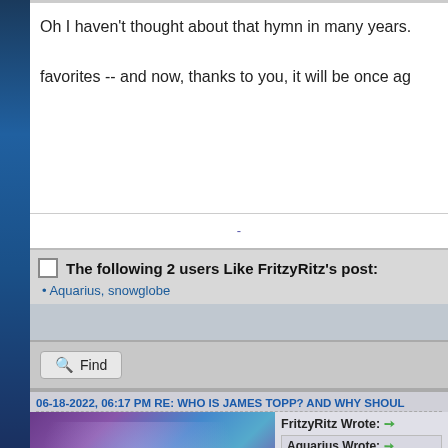Oh I haven't thought about that hymn in many years. favorites -- and now, thanks to you, it will be once ag
-
-------------
In the end, we do not remember the words o but the silence of our friends.
The following 2 users Like FritzyRitz's post:
• Aquarius, snowglobe
Find
06-18-2022, 06:17 PM RE: WHO IS JAMES TOPP? AND WHY SHOUL
FritzyRitz Wrote: →
Aquarius Wrote: →